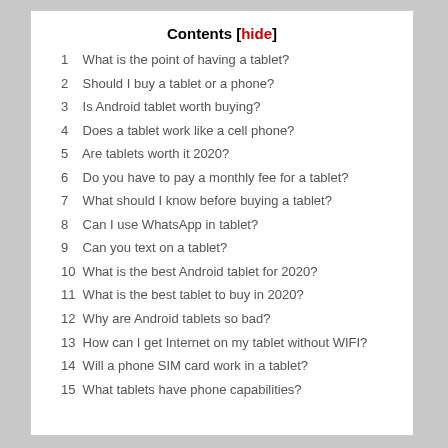Contents [hide]
1 What is the point of having a tablet?
2 Should I buy a tablet or a phone?
3 Is Android tablet worth buying?
4 Does a tablet work like a cell phone?
5 Are tablets worth it 2020?
6 Do you have to pay a monthly fee for a tablet?
7 What should I know before buying a tablet?
8 Can I use WhatsApp in tablet?
9 Can you text on a tablet?
10 What is the best Android tablet for 2020?
11 What is the best tablet to buy in 2020?
12 Why are Android tablets so bad?
13 How can I get Internet on my tablet without WIFI?
14 Will a phone SIM card work in a tablet?
15 What tablets have phone capabilities?